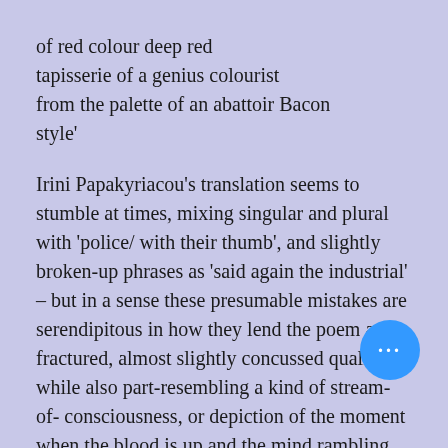of red colour deep red tapisserie of a genius colourist from the palette of an abattoir Bacon style'
Irini Papakyriacou's translation seems to stumble at times, mixing singular and plural with 'police/ with their thumb', and slightly broken-up phrases as 'said again the industrial' – but in a sense these presumable mistakes are serendipitous in how they lend the poem a fractured, almost slightly concussed quality, while also part-resembling a kind of stream-of-consciousness, or depiction of the moment when the blood is up and the mind rambling. This image-rich poem reads very much like an adrenalin rush.
Kiki Dimoula's 'In Defense of